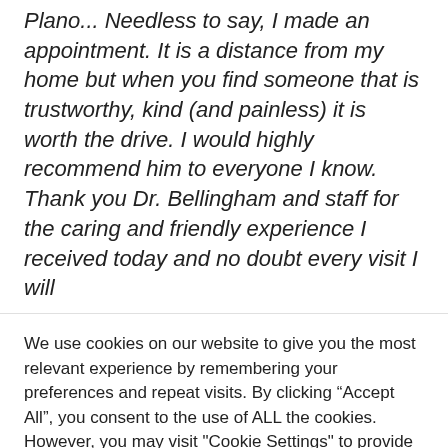Plano... Needless to say, I made an appointment. It is a distance from my home but when you find someone that is trustworthy, kind (and painless) it is worth the drive. I would highly recommend him to everyone I know. Thank you Dr. Bellingham and staff for the caring and friendly experience I received today and no doubt every visit I will
We use cookies on our website to give you the most relevant experience by remembering your preferences and repeat visits. By clicking “Accept All”, you consent to the use of ALL the cookies. However, you may visit "Cookie Settings" to provide a controlled consent.